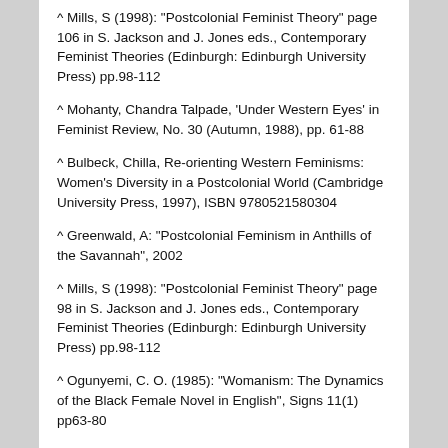^ Mills, S (1998): "Postcolonial Feminist Theory" page 106 in S. Jackson and J. Jones eds., Contemporary Feminist Theories (Edinburgh: Edinburgh University Press) pp.98-112
^ Mohanty, Chandra Talpade, 'Under Western Eyes' in Feminist Review, No. 30 (Autumn, 1988), pp. 61-88
^ Bulbeck, Chilla, Re-orienting Western Feminisms: Women's Diversity in a Postcolonial World (Cambridge University Press, 1997), ISBN 9780521580304
^ Greenwald, A: "Postcolonial Feminism in Anthills of the Savannah", 2002
^ Mills, S (1998): "Postcolonial Feminist Theory" page 98 in S. Jackson and J. Jones eds., Contemporary Feminist Theories (Edinburgh: Edinburgh University Press) pp.98-112
^ Ogunyemi, C. O. (1985): "Womanism: The Dynamics of the Black Female Novel in English", Signs 11(1) pp63-80
^ Kolawale, M. (1997): Womanism and African